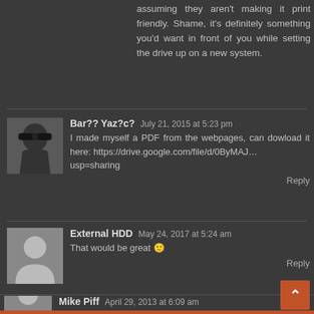assuming they aren't making it print friendly. Shame, it's definitely something you'd want in front of you while setting the drive up on a new system.
Bar?? Yaz?c?    July 21, 2015 at 5:23 pm
I made myself a PDF from the webpages, can dowload it here: https://drive.google.com/file/d/0ByMAJ…usp=sharing
Reply
External HDD    May 24, 2017 at 5:24 am
That would be great 🙂
Reply
Mike Piff    April 29, 2013 at 6:09 am
"For a typical user, the difference is mute"
You meant "moot" not "mute" I think!